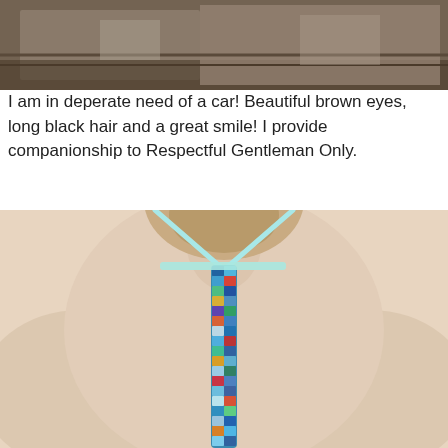[Figure (photo): Top portion of a photo showing an outdoor scene, partially cropped]
I am in deperate need of a car! Beautiful brown eyes, long black hair and a great smile! I provide companionship to Respectful Gentleman Only.
[Figure (photo): Photo of a person's back, showing the back of their head and neck, wearing a colorful patterned swimsuit with a T-back/racerback design with teal straps]